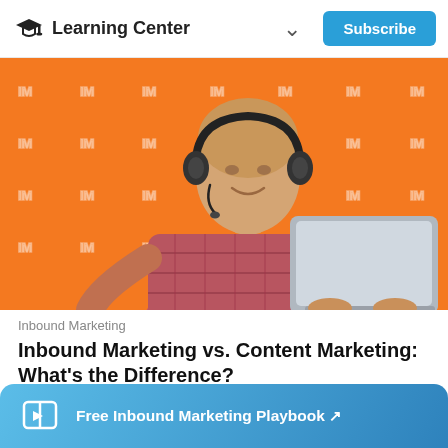Learning Center  Subscribe
[Figure (photo): A bald man wearing over-ear headphones and a plaid shirt, working on a MacBook laptop against an orange background with repeated IM logo watermarks]
Inbound Marketing
Inbound Marketing vs. Content Marketing: What's the Difference?
Free Inbound Marketing Playbook ↗